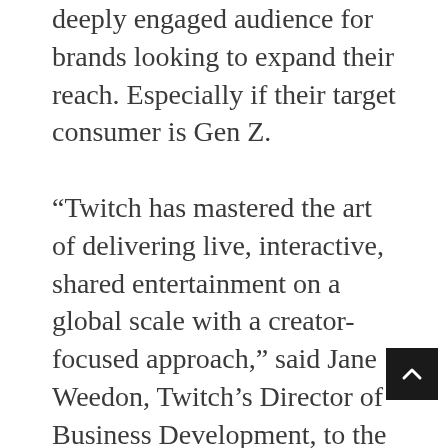deeply engaged audience for brands looking to expand their reach. Especially if their target consumer is Gen Z.

“Twitch has mastered the art of delivering live, interactive, shared entertainment on a global scale with a creator-focused approach,” said Jane Weedon, Twitch’s Director of Business Development, to the Content Marketing Institute. “The result is a large and passionate fan community connected by chat behavior and emote-driven